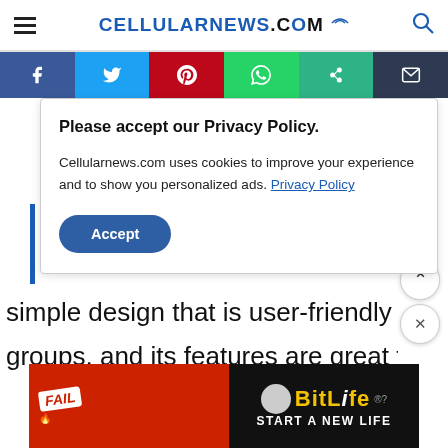CELLULARNEWS.COM
[Figure (screenshot): Social media sharing bar with Facebook, Twitter, Pinterest, WhatsApp, share, and email buttons]
Please accept our Privacy Policy.
Cellularnews.com uses cookies to improve your experience and to show you personalized ads. Privacy Policy
Accept
simple design that is user-friendly for all a
groups, and its features are great for both
[Figure (screenshot): BitLife advertisement banner showing FAIL badge, cartoon character, flame, and BitLife logo with START A NEW LIFE text]